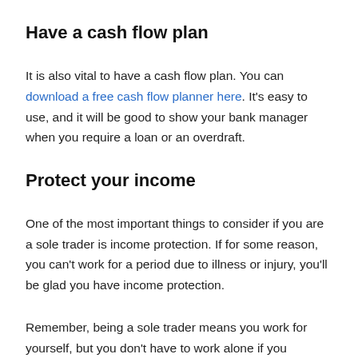Have a cash flow plan
It is also vital to have a cash flow plan. You can download a free cash flow planner here. It's easy to use, and it will be good to show your bank manager when you require a loan or an overdraft.
Protect your income
One of the most important things to consider if you are a sole trader is income protection. If for some reason, you can't work for a period due to illness or injury, you'll be glad you have income protection.
Remember, being a sole trader means you work for yourself, but you don't have to work alone if you need...